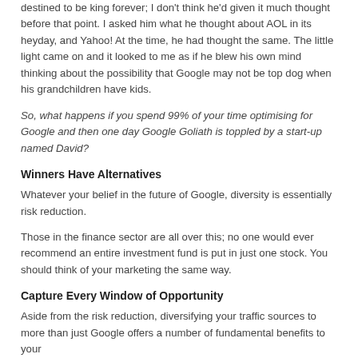destined to be king forever; I don't think he'd given it much thought before that point. I asked him what he thought about AOL in its heyday, and Yahoo! At the time, he had thought the same. The little light came on and it looked to me as if he blew his own mind thinking about the possibility that Google may not be top dog when his grandchildren have kids.
So, what happens if you spend 99% of your time optimising for Google and then one day Google Goliath is toppled by a start-up named David?
Winners Have Alternatives
Whatever your belief in the future of Google, diversity is essentially risk reduction.
Those in the finance sector are all over this; no one would ever recommend an entire investment fund is put in just one stock. You should think of your marketing the same way.
Capture Every Window of Opportunity
Aside from the risk reduction, diversifying your traffic sources to more than just Google offers a number of fundamental benefits to your